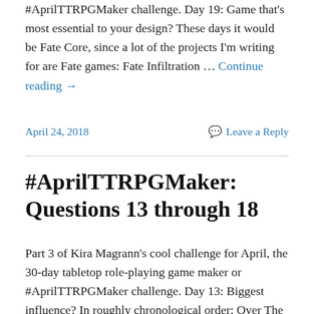#AprilTTRPGMaker challenge. Day 19: Game that's most essential to your design? These days it would be Fate Core, since a lot of the projects I'm writing for are Fate games: Fate Infiltration … Continue reading →
April 24, 2018
Leave a Reply
#AprilTTRPGMaker: Questions 13 through 18
Part 3 of Kira Magrann's cool challenge for April, the 30-day tabletop role-playing game maker or #AprilTTRPGMaker challenge. Day 13: Biggest influence? In roughly chronological order: Over The Edge by Jonathan Tweet (Atlas Games); Robin's Laws of Good Game-mastering by Robin Laws (Steve … Continue